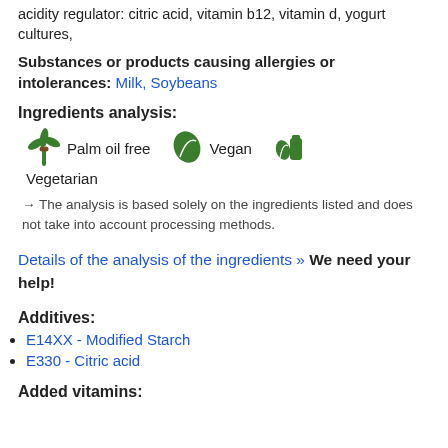acidity regulator: citric acid, vitamin b12, vitamin d, yogurt cultures,
Substances or products causing allergies or intolerances: Milk, Soybeans
Ingredients analysis:
[Figure (infographic): Three icons: palm tree (Palm oil free), green leaf (Vegan), oil bottle/drop (Vegetarian)]
→ The analysis is based solely on the ingredients listed and does not take into account processing methods.
Details of the analysis of the ingredients » We need your help!
Additives:
E14XX - Modified Starch
E330 - Citric acid
Added vitamins: